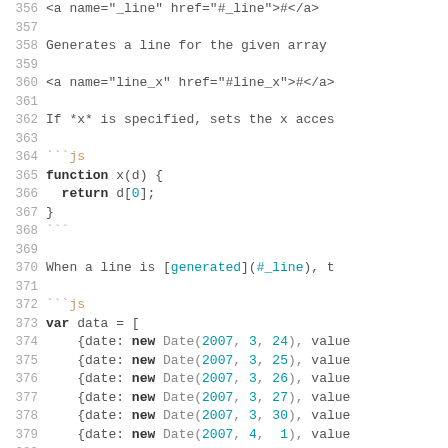Code documentation page showing lines 356–385 with JavaScript code examples for d3.line() usage
356  <a name="_line" href="#_line">#</a>
357  (empty)
358  Generates a line for the given array
359  (empty)
360  <a name="line_x" href="#line_x">#</a>
361  (empty)
362  If *x* is specified, sets the x acces
363  (empty)
364  ```js
365  function x(d) {
366    return d[0];
367  }
368  ```
369  (empty)
370  When a line is [generated](#_line), t
371  (empty)
372  ```js
373  var data = [
374    {date: new Date(2007, 3, 24), value
375    {date: new Date(2007, 3, 25), value
376    {date: new Date(2007, 3, 26), value
377    {date: new Date(2007, 3, 27), value
378    {date: new Date(2007, 3, 30), value
379    {date: new Date(2007, 4,  1), value
380  ...
381  ];
382  (empty)
383  var line = d3.line()
384    .x(function(d) { return x(d.date)
385    .y(function(d) { return y(d.value)